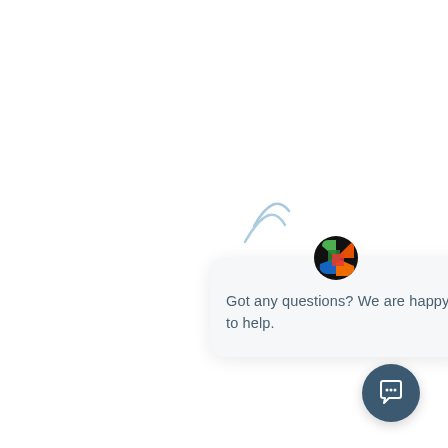[Figure (screenshot): A chat popup widget UI element showing a colorful app icon circle at top, a close X button, and the message 'Got any questions? We are happy to help.' in a light rounded card. Below right is a circular dark teal chat bubble button with a speech bubble icon. Two light blue partial arc shapes appear in the background (loading spinners or decorative elements).]